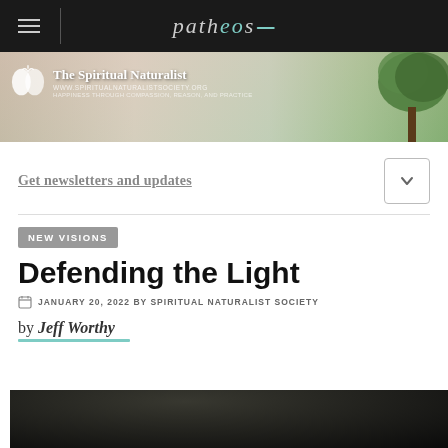patheos
[Figure (logo): The Spiritual Naturalist Society banner with tree background]
Get newsletters and updates
NEW VISIONS
Defending the Light
JANUARY 20, 2022 BY SPIRITUAL NATURALIST SOCIETY
by Jeff Worthy
[Figure (photo): Dark nature photo at bottom of page]